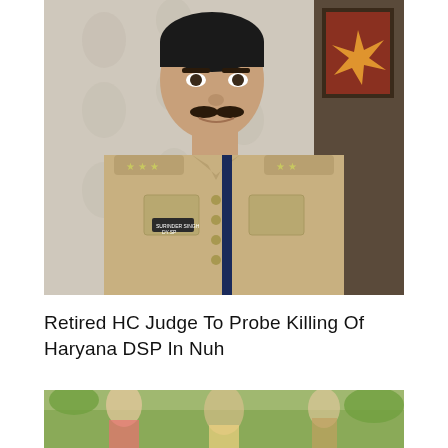[Figure (photo): Photograph of a man in a khaki police uniform with DSP rank insignia, name badge, and a dark lanyard, posed indoors with a decorative wallpaper background and a framed picture on the right]
Retired HC Judge To Probe Killing Of Haryana DSP In Nuh
[Figure (photo): Partial photograph, partially visible image at bottom of page, appears to show people outdoors with greenery]